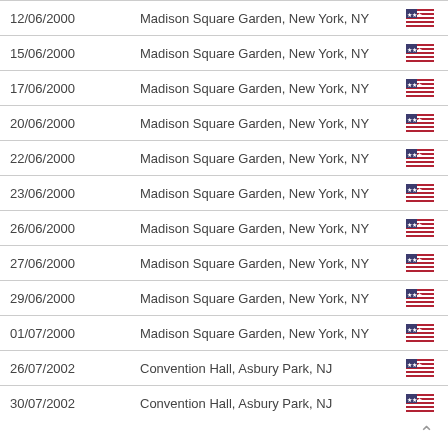| Date | Venue | Country |
| --- | --- | --- |
| 12/06/2000 | Madison Square Garden, New York, NY | US |
| 15/06/2000 | Madison Square Garden, New York, NY | US |
| 17/06/2000 | Madison Square Garden, New York, NY | US |
| 20/06/2000 | Madison Square Garden, New York, NY | US |
| 22/06/2000 | Madison Square Garden, New York, NY | US |
| 23/06/2000 | Madison Square Garden, New York, NY | US |
| 26/06/2000 | Madison Square Garden, New York, NY | US |
| 27/06/2000 | Madison Square Garden, New York, NY | US |
| 29/06/2000 | Madison Square Garden, New York, NY | US |
| 01/07/2000 | Madison Square Garden, New York, NY | US |
| 26/07/2002 | Convention Hall, Asbury Park, NJ | US |
| 30/07/2002 | Convention Hall, Asbury Park, NJ | US |